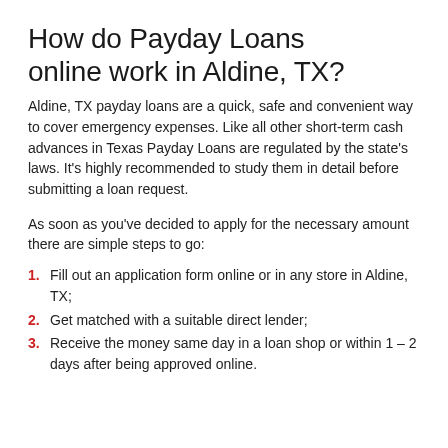How do Payday Loans online work in Aldine, TX?
Aldine, TX payday loans are a quick, safe and convenient way to cover emergency expenses. Like all other short-term cash advances in Texas Payday Loans are regulated by the state's laws. It's highly recommended to study them in detail before submitting a loan request.
As soon as you've decided to apply for the necessary amount there are simple steps to go:
Fill out an application form online or in any store in Aldine, TX;
Get matched with a suitable direct lender;
Receive the money same day in a loan shop or within 1 – 2 days after being approved online.